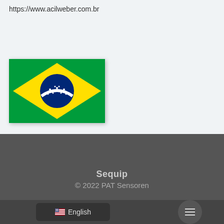https://www.acilweber.com.br
[Figure (illustration): Brazilian flag — green rectangle with yellow diamond in center containing a blue circle with a white diagonal band and stars]
Sequip
© 2022 PAT Sensoren
[Figure (illustration): US flag emoji followed by English language selector button]
[Figure (illustration): Hamburger menu button (three white horizontal lines)]